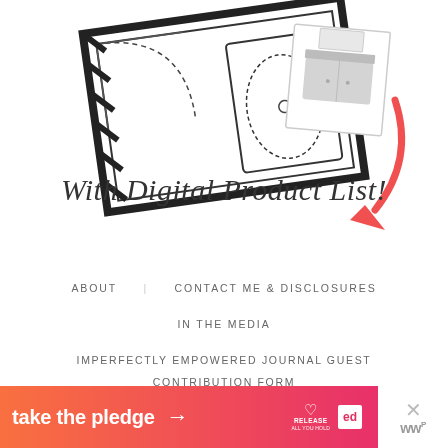[Figure (illustration): Floor plan blueprint illustration with a vanity/cabinet image inset, a red curved arrow, and handwritten-style text 'With Digital Product List!']
ABOUT
CONTACT ME & DISCLOSURES
IN THE MEDIA
IMPERFECTLY EMPOWERED JOURNAL GUEST CONTRIBUTION FORM
[Figure (infographic): Orange-to-pink gradient banner ad reading 'take the pledge →' with Release and ed logos, and an X close button with WordPress logo]